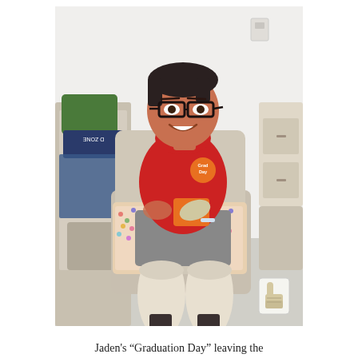[Figure (photo): A young boy wearing a red t-shirt with 'Grad Day' badge, sitting in a medical chair in a hospital room. He is smiling, wearing glasses, and has bandaged/prosthetic legs and a bandaged right hand. He holds an orange 'Grad Day' card. A hospital bed with colorful pillows is visible to the left, and a dresser and seating area to the right. A pointing hand cursor icon is visible in the bottom right corner of the photo.]
Jaden's "Graduation Day" leaving the